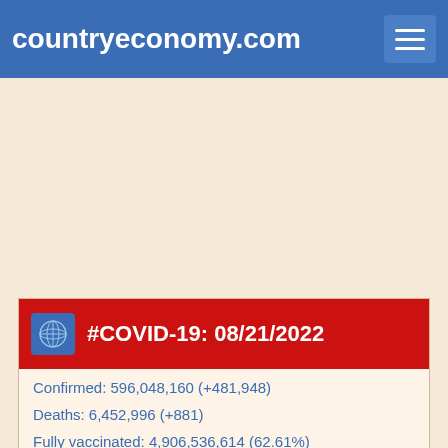countryeconomy.com
#COVID-19: 08/21/2022
Confirmed: 596,048,160 (+481,948)
Deaths: 6,452,996 (+881)
Fully vaccinated: 4,906,536,614 (62.61%)
COMPARE COUNTRIES